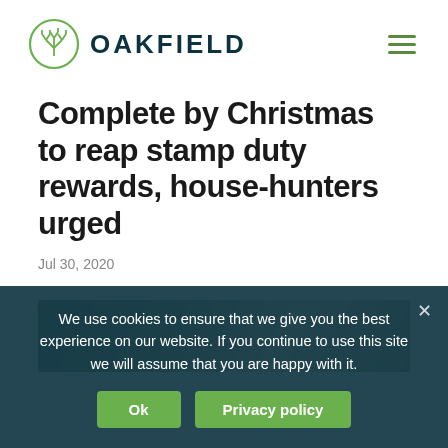OAKFIELD
Complete by Christmas to reap stamp duty rewards, house-hunters urged
Jul 30, 2020
[Figure (photo): Outdoor/garden photo, partially visible at bottom of content area]
We use cookies to ensure that we give you the best experience on our website. If you continue to use this site we will assume that you are happy with it.